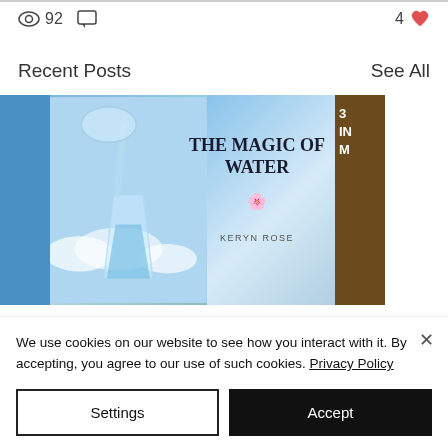92  [comment icon]  4 [heart]
Recent Posts
See All
[Figure (photo): Blog post thumbnail showing water being poured from a glass pitcher into a glass, with blue sky background. Text overlay reads 'THE MAGIC OF WATER' with 'KERYN ROSE' branding. Partially visible cards on left and right.]
We use cookies on our website to see how you interact with it. By accepting, you agree to our use of such cookies. Privacy Policy
Settings
Accept